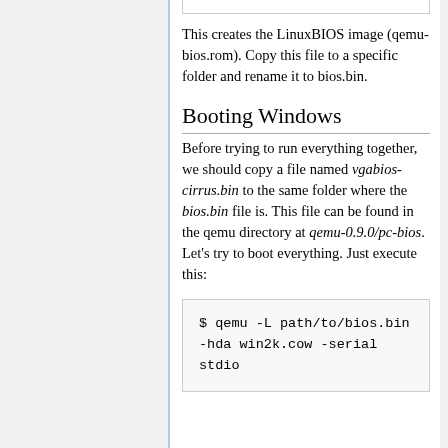This creates the LinuxBIOS image (qemu-bios.rom). Copy this file to a specific folder and rename it to bios.bin.
Booting Windows
Before trying to run everything together, we should copy a file named vgabios-cirrus.bin to the same folder where the bios.bin file is. This file can be found in the qemu directory at qemu-0.9.0/pc-bios. Let's try to boot everything. Just execute this:
$ qemu -L path/to/bios.bin -hda win2k.cow -serial stdio